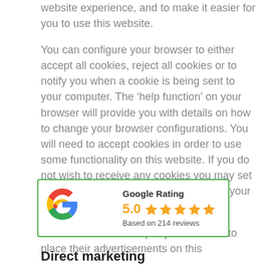website experience, and to make it easier for you to use this website.
You can configure your browser to either accept all cookies, reject all cookies or to notify you when a cookie is being sent to your computer. The ‘help function’ on your browser will provide you with details on how to change your browser configurations. You will need to accept cookies in order to use some functionality on this website. If you do not wish to receive any cookies you may set your browser to refuse them. However, your use of our website may be affected.
We do not allow third-party advertisers to place their advertisements on this
[Figure (infographic): Google Rating widget showing 5.0 stars based on 214 reviews, with Google 'G' logo, green border]
Direct marketing